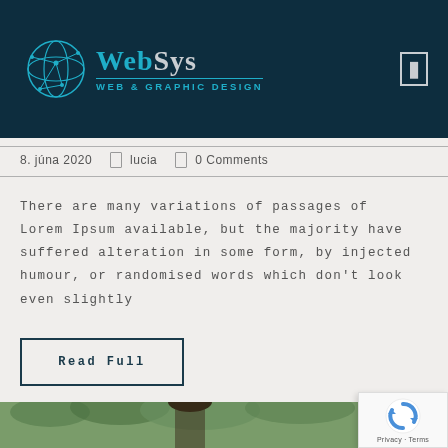[Figure (logo): WebSys Web & Graphic Design logo with globe icon on dark teal header background]
8. júna 2020  •  lucia  •  0 Comments
There are many variations of passages of Lorem Ipsum available, but the majority have suffered alteration in some form, by injected humour, or randomised words which don't look even slightly
Read Full
[Figure (photo): Partial view of a woman with dark hair outdoors with green foliage background]